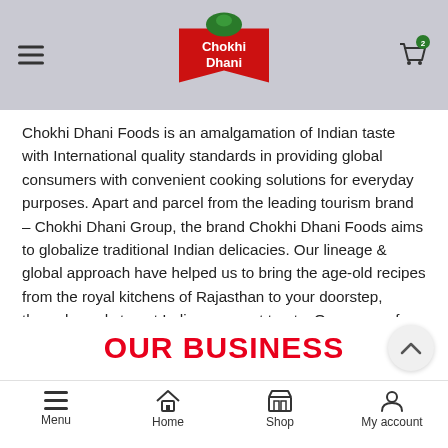Chokhi Dhani — header with logo, menu hamburger, and cart icon
Chokhi Dhani Foods is an amalgamation of Indian taste with International quality standards in providing global consumers with convenient cooking solutions for everyday purposes. Apart and parcel from the leading tourism brand – Chokhi Dhani Group, the brand Chokhi Dhani Foods aims to globalize traditional Indian delicacies. Our lineage & global approach have helped us to bring the age-old recipes from the royal kitchens of Rajasthan to your doorstep, through ready to eat Indian gourmet treats. Our range of packaged foods includes Ready To Eat Vegetable Curries, Rice, Combo Meals, Desserts, Instant Mix, Gravies, Pickles, Jams, Chutneys, Blended Spices, Sauces, Cooking Pastes, Soups, and Frozen Items.
OUR BUSINESS
Menu | Home | Shop | My account